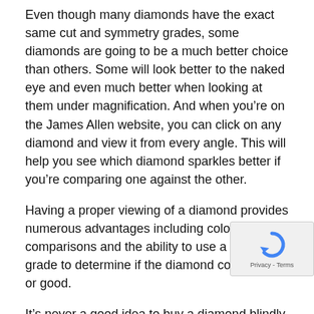Even though many diamonds have the exact same cut and symmetry grades, some diamonds are going to be a much better choice than others. Some will look better to the naked eye and even much better when looking at them under magnification. And when you're on the James Allen website, you can click on any diamond and view it from every angle. This will help you see which diamond sparkles better if you're comparing one against the other.
Having a proper viewing of a diamond provides numerous advantages including color comparisons and the ability to use a color grade to determine if the diamond color is bad or good.
It's never a good idea to buy a diamond blindly. That's why the set up at Blue Nile leaves a lot to be desired.
Viewing Inventory and Selecting
[Figure (other): reCAPTCHA widget showing a circular arrow icon and 'Privacy - Terms' text]